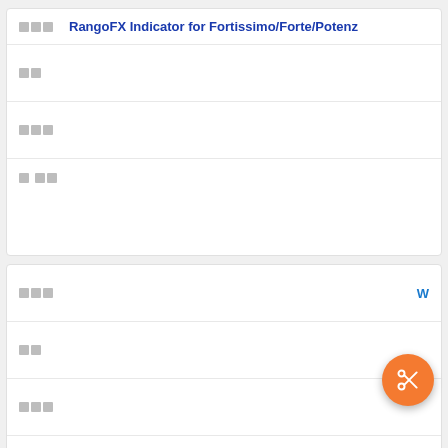RangoFX Indicator for Fortissimo/Forte/Potenz
□□
□□□
□□ □□
□□□
W
□□
□□□